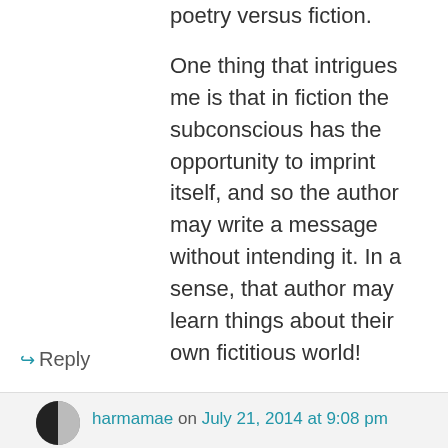poetry versus fiction.
One thing that intrigues me is that in fiction the subconscious has the opportunity to imprint itself, and so the author may write a message without intending it. In a sense, that author may learn things about their own fictitious world!
But also I love that layers of understanding unintended by the author will probably exist in good writing too. I suppose I'm siding with the “rights of the readers”.
★ Like
↪ Reply
harmamae on July 21, 2014 at 9:08 pm